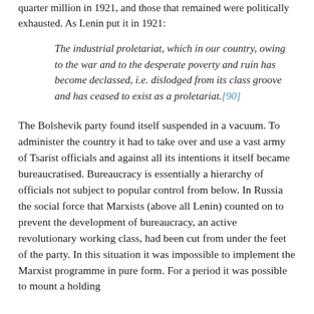quarter million in 1921, and those that remained were politically exhausted. As Lenin put it in 1921:
The industrial proletariat, which in our country, owing to the war and to the desperate poverty and ruin has become declassed, i.e. dislodged from its class groove and has ceased to exist as a proletariat.[90]
The Bolshevik party found itself suspended in a vacuum. To administer the country it had to take over and use a vast army of Tsarist officials and against all its intentions it itself became bureaucratised. Bureaucracy is essentially a hierarchy of officials not subject to popular control from below. In Russia the social force that Marxists (above all Lenin) counted on to prevent the development of bureaucracy, an active revolutionary working class, had been cut from under the feet of the party. In this situation it was impossible to implement the Marxist programme in pure form. For a period it was possible to mount a holding